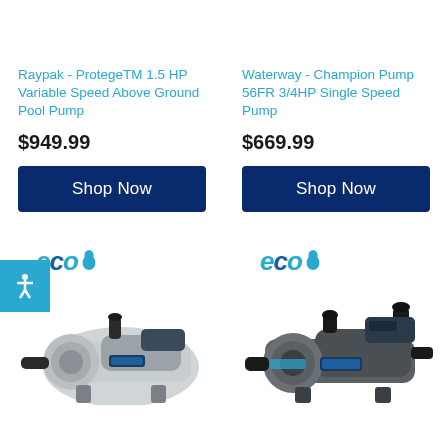Raypak - ProtegeTM 1.5 HP Variable Speed Above Ground Pool Pump
$949.99
Shop Now
Waterway - Champion Pump 56FR 3/4HP Single Speed Pump
$669.99
Shop Now
[Figure (logo): eco logo with water drop - left]
[Figure (photo): Pool pump product photo - light gray variable speed pump]
[Figure (logo): eco logo with water drop - right]
[Figure (photo): Pool pump product photo - dark gray single speed pump]